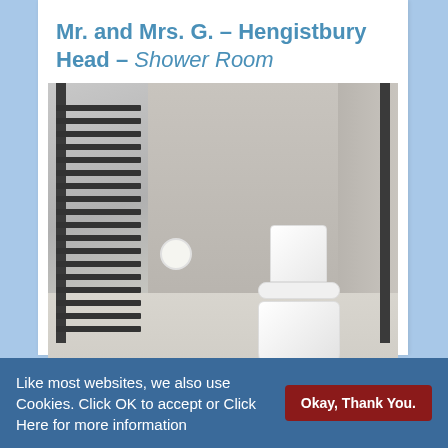Mr. and Mrs. G. – Hengistbury Head – Shower Room
[Figure (photo): Interior photo of a modern shower room showing a dark grey heated towel rail on the left, grey marble-effect wall tiles, a white close-coupled toilet on the right, a toilet roll holder, and light-coloured floor tiles.]
Like most websites, we also use Cookies. Click OK to accept or Click Here for more information